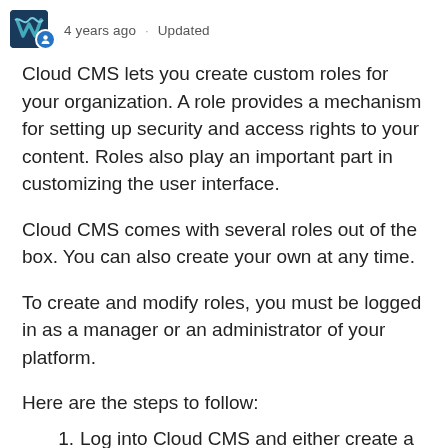4 years ago · Updated
Cloud CMS lets you create custom roles for your organization.  A role provides a mechanism for setting up security and access rights to your content.  Roles also play an important part in customizing the user interface.
Cloud CMS comes with several roles out of the box.  You can also create your own at any time.
To create and modify roles, you must be logged in as a manager or an administrator of your platform.
Here are the steps to follow:
Log into Cloud CMS and either create a project or navigate into an existing project.